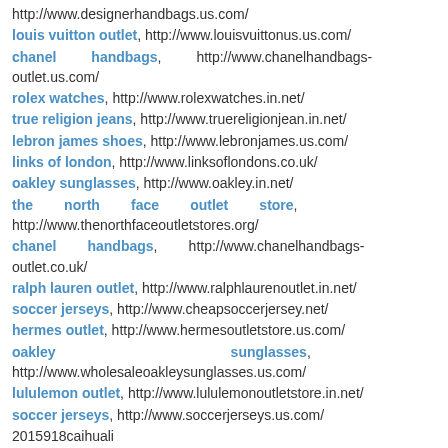http://www.designerhandbags.us.com/
louis vuitton outlet, http://www.louisvuittonus.us.com/
chanel handbags, http://www.chanelhandbags-outlet.us.com/
rolex watches, http://www.rolexwatches.in.net/
true religion jeans, http://www.truereligionjean.in.net/
lebron james shoes, http://www.lebronjames.us.com/
links of london, http://www.linksoflondons.co.uk/
oakley sunglasses, http://www.oakley.in.net/
the north face outlet store, http://www.thenorthfaceoutletstores.org/
chanel handbags, http://www.chanelhandbags-outlet.co.uk/
ralph lauren outlet, http://www.ralphlaurenoutlet.in.net/
soccer jerseys, http://www.cheapsoccerjersey.net/
hermes outlet, http://www.hermesoutletstore.us.com/
oakley sunglasses, http://www.wholesaleoakleysunglasses.us.com/
lululemon outlet, http://www.lululemonoutletstore.in.net/
soccer jerseys, http://www.soccerjerseys.us.com/
2015918caihuali
Reply